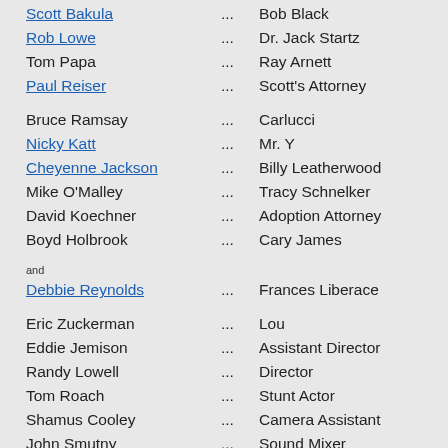Scott Bakula ... Bob Black
Rob Lowe ... Dr. Jack Startz
Tom Papa ... Ray Arnett
Paul Reiser ... Scott's Attorney
Bruce Ramsay ... Carlucci
Nicky Katt ... Mr. Y
Cheyenne Jackson ... Billy Leatherwood
Mike O'Malley ... Tracy Schnelker
David Koechner ... Adoption Attorney
Boyd Holbrook ... Cary James
and
Debbie Reynolds ... Frances Liberace
Eric Zuckerman ... Lou
Eddie Jemison ... Assistant Director
Randy Lowell ... Director
Tom Roach ... Stunt Actor
Shamus Cooley ... Camera Assistant
John Smutny ... Sound Mixer
Jane Morris ... Rose Carracappa